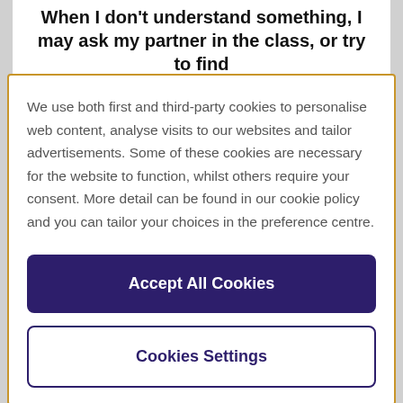When I don't understand something, I may ask my partner in the class, or try to find information in the book or on the...
We use both first and third-party cookies to personalise web content, analyse visits to our websites and tailor advertisements. Some of these cookies are necessary for the website to function, whilst others require your consent. More detail can be found in our cookie policy and you can tailor your choices in the preference centre.
Accept All Cookies
Cookies Settings